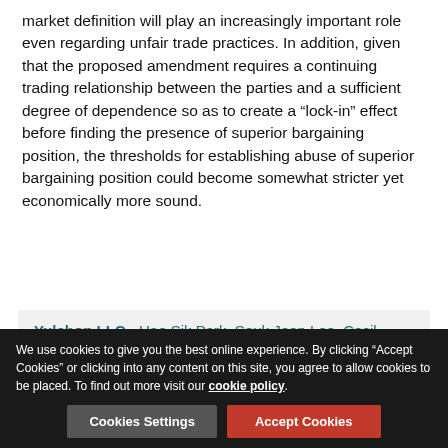market definition will play an increasingly important role even regarding unfair trade practices. In addition, given that the proposed amendment requires a continuing trading relationship between the parties and a sufficient degree of dependence so as to create a “lock-in” effect before finding the presence of superior bargaining position, the thresholds for establishing abuse of superior bargaining position could become somewhat stricter yet economically more sound.
Yulchon LLC - Hae Sik Park, Seuk Joon Lee, Cecil Saehoon Chung, Sung Bom Park and Kum Ju Son
[Figure (infographic): Row of action icons: save, open/share, email, print, share, add, thumbs-up — separated by vertical dividers]
We use cookies to give you the best online experience. By clicking “Accept Cookies” or clicking into any content on this site, you agree to allow cookies to be placed. To find out more visit our cookie policy.